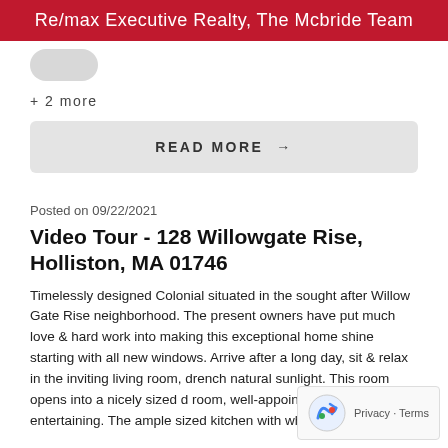Re/max Executive Realty, The Mcbride Team
+ 2 more
READ MORE →
Posted on 09/22/2021
Video Tour - 128 Willowgate Rise, Holliston, MA 01746
Timelessly designed Colonial situated in the sought after Willow Gate Rise neighborhood. The present owners have put much love & hard work into making this exceptional home shine starting with all new windows. Arrive after a long day, sit & relax in the inviting living room, drench natural sunlight. This room opens into a nicely sized d room, well-appointed & perfect for entertaining. The ample sized kitchen with white cabinets, granite counters